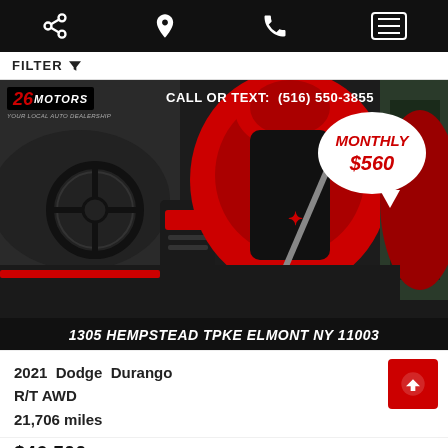Navigation bar with share, location, phone, and menu icons
FILTER
[Figure (photo): Car dealership advertisement showing interior of a 2021 Dodge Durango R/T AWD with red and black leather seats. Banner shows '26 Motors' logo, 'CALL OR TEXT: (516) 550-3855', 'MONTHLY $560' in a speech bubble, and address '1305 HEMPSTEAD TPKE ELMONT NY 11003' at the bottom.]
2021 Dodge Durango
R/T AWD
21,706 miles
$46,500 $560 Monthly